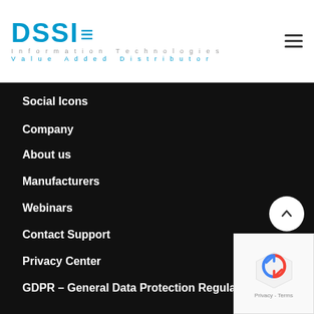DSSI Information Technologies Value Added Distributor
Social Icons
Company
About us
Manufacturers
Webinars
Contact Support
Privacy Center
GDPR – General Data Protection Regulation